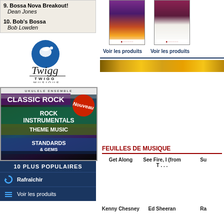9. Bossa Nova Breakout!
   Dean Jones
10. Bob's Bossa
    Bob Lowden
[Figure (logo): Twigg Musique logo with stylized bird/music note graphic and italic 'Twigg' script text below TWIGG MUSIQUE]
[Figure (photo): Ukulele Ensemble book covers featuring Classic Rock, Rock Instrumentals, Theme Music, Standards & Gems with 'Nouveau' red badge]
10 PLUS POPULAIRES
Rafraîchir
Voir les produits
[Figure (photo): Concert photo with purple/orange lighting]
[Figure (photo): Music book cover photo]
Voir les produits
Voir les produits
[Figure (other): Gold/yellow gradient banner]
FEUILLES DE MUSIQUE
Get Along
See Fire, I (from T . . .
Su
Kenny Chesney
Ed Sheeran
Ra